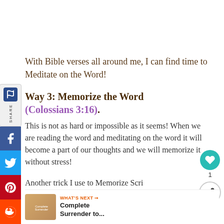With Bible verses all around me, I can find time to Meditate on the Word!
Way 3: Memorize the Word (Colossians 3:16).
This is not as hard or impossible as it seems! When we are reading the word and meditating on the word it will become a part of our thoughts and we will memorize it without stress!
Another trick I use to Memorize Scripture is to Pray it.  I find verses about the problems